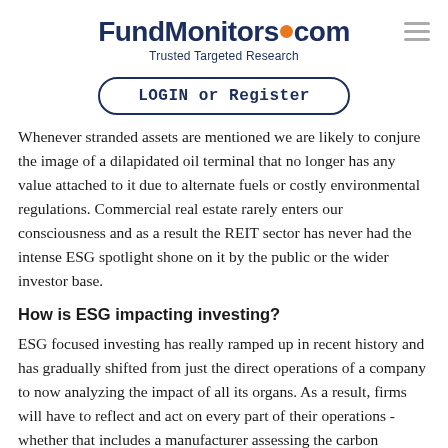FundMonitors.com — Trusted Targeted Research
LOGIN or Register
Whenever stranded assets are mentioned we are likely to conjure the image of a dilapidated oil terminal that no longer has any value attached to it due to alternate fuels or costly environmental regulations. Commercial real estate rarely enters our consciousness and as a result the REIT sector has never had the intense ESG spotlight shone on it by the public or the wider investor base.
How is ESG impacting investing?
ESG focused investing has really ramped up in recent history and has gradually shifted from just the direct operations of a company to now analyzing the impact of all its organs. As a result, firms will have to reflect and act on every part of their operations - whether that includes a manufacturer assessing the carbon intensity of its HQ, a pharmaceutical trying to lessen water usage at its distribution centre or a tech company maximizing the air quality on its campuses. Thus,